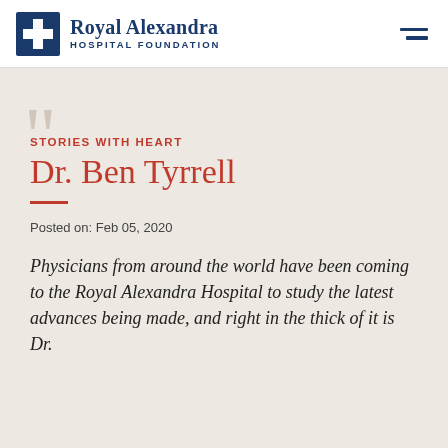[Figure (logo): Royal Alexandra Hospital Foundation logo with blue cross icon and serif wordmark]
STORIES WITH HEART
Dr. Ben Tyrrell
Posted on: Feb 05, 2020
Physicians from around the world have been coming to the Royal Alexandra Hospital to study the latest advances being made, and right in the thick of it is Dr.